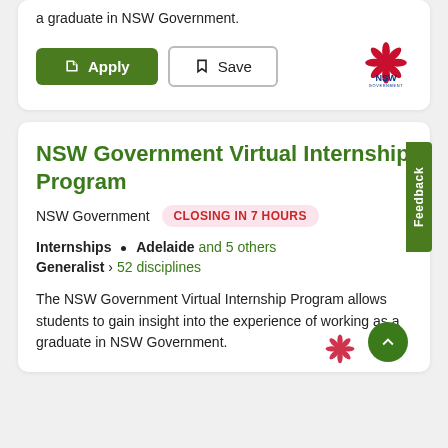a graduate in NSW Government.
[Figure (screenshot): Apply button (green) and Save button (outline) with NSW Government logo]
NSW Government Virtual Internship Program
NSW Government   CLOSING IN 7 HOURS
Internships • Adelaide and 5 others
Generalist › 52 disciplines
The NSW Government Virtual Internship Program allows students to gain insight into the experience of working as a graduate in NSW Government.
[Figure (logo): NSW Government logo at bottom right]